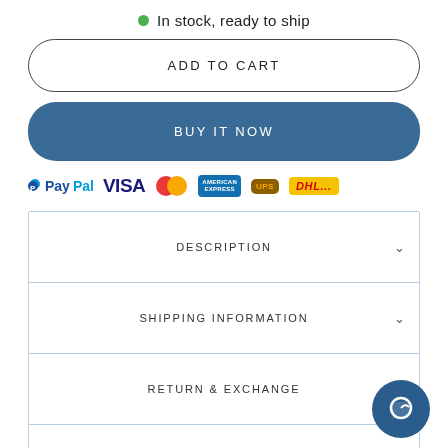In stock, ready to ship
ADD TO CART
BUY IT NOW
[Figure (logo): Payment method logos: PayPal, VISA, Mastercard, American Express, UPS, DHL]
DESCRIPTION
SHIPPING INFORMATION
RETURN & EXCHANGE
WHY SO CHEAP ?
ASK A QUESTION